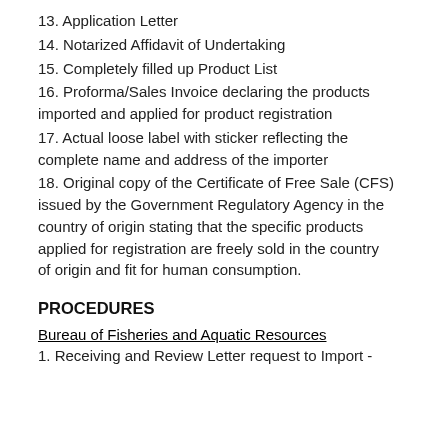13. Application Letter
14. Notarized Affidavit of Undertaking
15. Completely filled up Product List
16. Proforma/Sales Invoice declaring the products imported and applied for product registration
17. Actual loose label with sticker reflecting the complete name and address of the importer
18. Original copy of the Certificate of Free Sale (CFS) issued by the Government Regulatory Agency in the country of origin stating that the specific products applied for registration are freely sold in the country of origin and fit for human consumption.
PROCEDURES
Bureau of Fisheries and Aquatic Resources
1. Receiving and Review Letter request to Import -